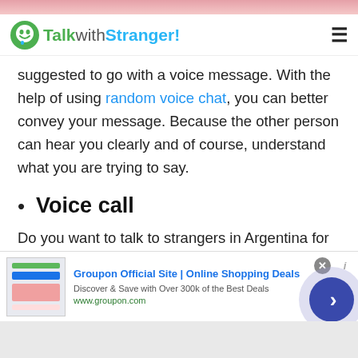[Figure (screenshot): Pink/salmon gradient decorative bar at top]
TalkwithStranger!
suggested to go with a voice message. With the help of using random voice chat, you can better convey your message. Because the other person can hear you clearly and of course, understand what you are trying to say.
Voice call
Do you want to talk to strangers in Argentina for an unlimited duration? If yes, enjoy free voice calls all around the globe for an unlimited time period. Remember that TWS real-time voice calling option
[Figure (screenshot): Groupon advertisement banner: Groupon Official Site | Online Shopping Deals. Discover & Save with Over 300k of the Best Deals. www.groupon.com]